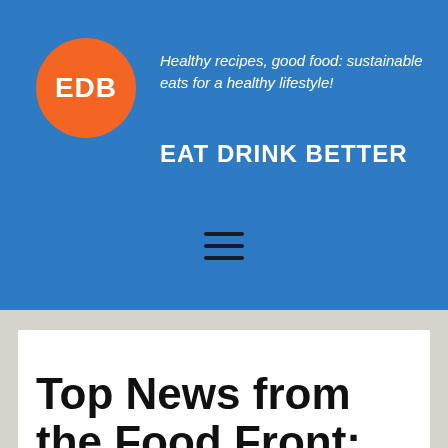[Figure (logo): Orange circle logo with white text 'EDB' for Eat Drink Better]
Healthy recipes, good food: sustainable eats for a healthy lifestyle!
EAT DRINK BETTER
[Figure (other): Hamburger menu icon (three horizontal lines)]
Top News from the Food Front: Righteous